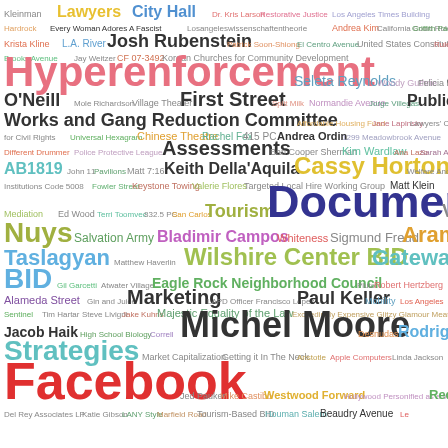[Figure (infographic): Word cloud containing various terms related to Los Angeles government, legal, and community topics. Words vary in size, color, and weight to indicate relative frequency or importance. Terms include: Documents, Hyperenforcement, Facebook, Michel Moore, Rodriguez, Wilshire Center BID, Gateway to LA BID, Cassy Horton, Strategies, First Street, Public Works and Gang Reduction Committee, Assessments, Keith Della'Aquila, Lawyers, City Hall, Josh Rubenstein, Bladimir Campos, Eagle Rock Neighborhood Council, Marketing, Paul Keller, Tourism, Van Nuys, Aram Taslagyan, and many others.]